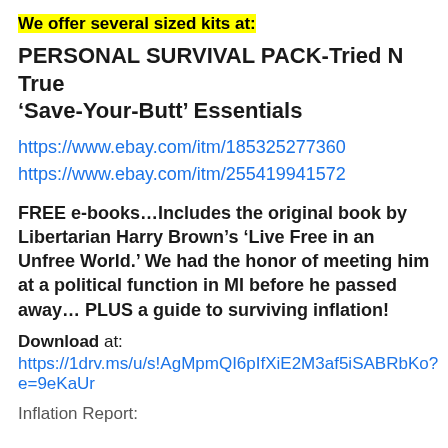We offer several sized kits at:
PERSONAL SURVIVAL PACK-Tried N True ‘Save-Your-Butt’ Essentials
https://www.ebay.com/itm/185325277360
https://www.ebay.com/itm/255419941572
FREE e-books…Includes the original book by Libertarian Harry Brown’s ‘Live Free in an Unfree World.’ We had the honor of meeting him at a political function in MI before he passed away… PLUS a guide to surviving inflation!
Download at: https://1drv.ms/u/s!AgMpmQI6pIfXiE2M3af5iSABRbKo?e=9eKaUr
Inflation Report: